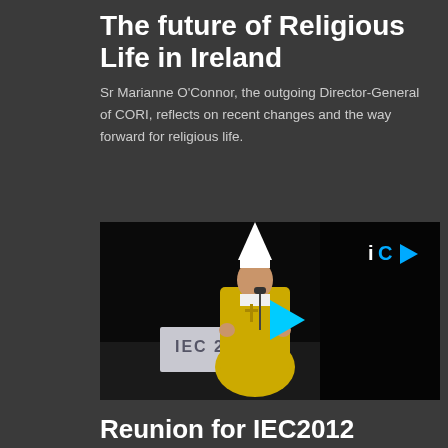The future of Religious Life in Ireland
Sr Marianne O'Connor, the outgoing Director-General of CORI, reflects on recent changes and the way forward for religious life.
[Figure (photo): Video thumbnail showing a bishop in yellow vestments and white mitre speaking at a podium labeled IEC 2012, with a cyan play button overlay and iC logo in the top right corner.]
Reunion for IEC2012